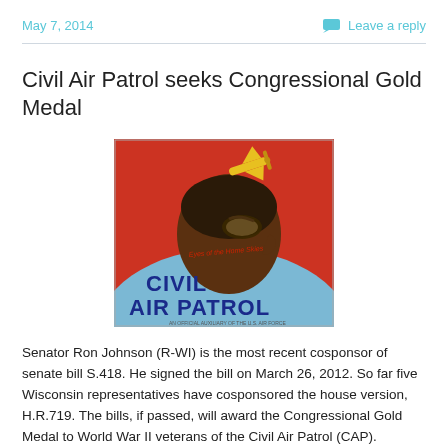May 7, 2014
Leave a reply
Civil Air Patrol seeks Congressional Gold Medal
[Figure (illustration): Vintage WWII-era Civil Air Patrol recruitment poster showing a pilot in profile wearing goggles and a leather helmet with a yellow plane overhead. Text reads 'CIVIL AIR PATROL' in bold blue letters on an orange and blue background.]
Senator Ron Johnson (R-WI) is the most recent cosponsor of senate bill S.418. He signed the bill on March 26, 2012. So far five Wisconsin representatives have cosponsored the house version, H.R.719. The bills, if passed, will award the Congressional Gold Medal to World War II veterans of the Civil Air Patrol (CAP). Representative Bob Fisner (D-CA) introduced the bill on February 15, 2011. He has since been joined